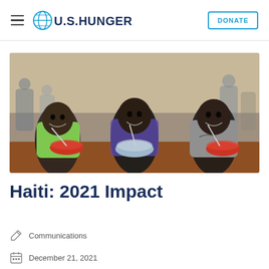U.S. HUNGER — DONATE
[Figure (photo): Three young boys sitting at a wooden table, each with a bowl of food, smiling at the camera. The boys are wearing colorful shirts (green, purple/blue pattern, gray Nike). Outdoor setting with other people in the background.]
Haiti: 2021 Impact
Communications
December 21, 2021